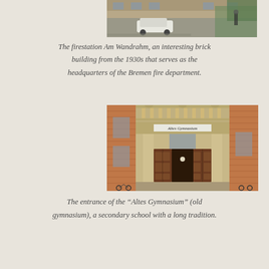[Figure (photo): Top portion of a brick building (firestation Am Wandrahm) with a white car visible in front, street view]
The firestation Am Wandrahm, an interesting brick building from the 1930s that serves as the headquarters of the Bremen fire department.
[Figure (photo): The entrance of the Altes Gymnasium (old gymnasium) building in Bremen, showing an ornate stone portal with wooden doors, columns, a balustrade, and a sign reading 'Altes Gymnasium', set within a red brick building facade]
The entrance of the “Altes Gymnasium” (old gymnasium), a secondary school with a long tradition.